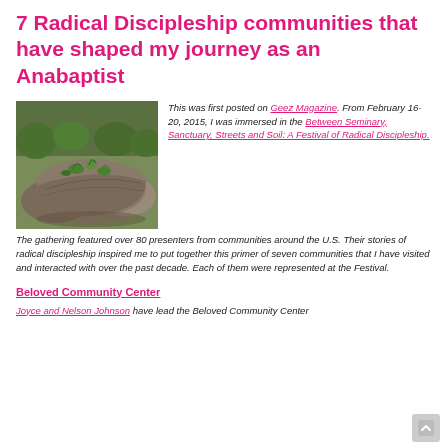7 Radical Discipleship communities that have shaped my journey as an Anabaptist
[Figure (photo): Close-up photo of rocks and green plants/moss outdoors]
This was first posted on Geez Magazine. From February 16-20, 2015, I was immersed in the Between Seminary, Sanctuary, Streets and Soil: A Festival of Radical Discipleship. The gathering featured over 80 presenters from communities around the U.S. Their stories of radical discipleship inspired me to put together this primer of seven communities that I have visited and interacted with over the past decade. Each of them were represented at the Festival.
Beloved Community Center
Joyce and Nelson Johnson have lead the Beloved Community Center